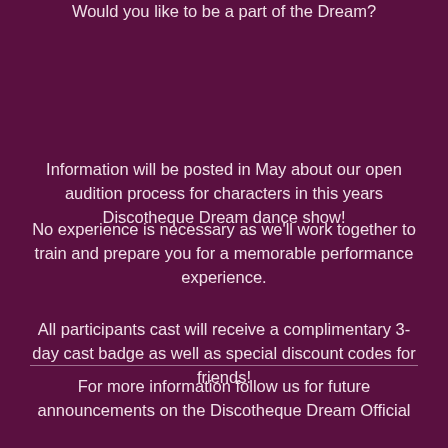Would you like to be a part of the Dream?
Information will be posted in May about our open audition process for characters in this years Discotheque Dream dance show!
No experience is necessary as we'll work together to train and prepare you for a memorable performance experience.
All participants cast will receive a complimentary 3-day cast badge as well as special discount codes for friends!
For more information follow us for future announcements on the Discotheque Dream Official